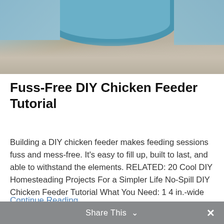[Figure (photo): Close-up photo of a blue PVC pipe ring/feeder filled with grain or sand, viewed from above]
Fuss-Free DIY Chicken Feeder Tutorial
Building a DIY chicken feeder makes feeding sessions fuss and mess-free. It's easy to fill up, built to last, and able to withstand the elements. RELATED: 20 Cool DIY Homesteading Projects For a Simpler Life No-Spill DIY Chicken Feeder Tutorial What You Need: 1 4 in.-wide PVC pipe, cut to size depending on your desired length…
Continue Reading
Share This ∨  ✕